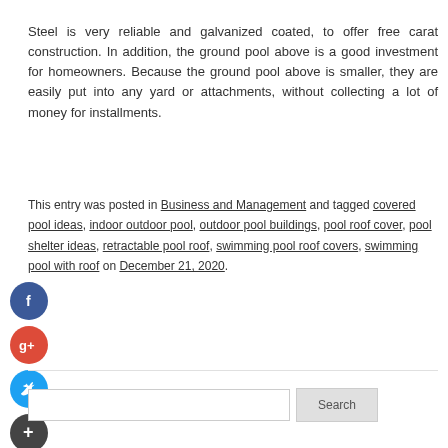Steel is very reliable and galvanized coated, to offer free carat construction. In addition, the ground pool above is a good investment for homeowners. Because the ground pool above is smaller, they are easily put into any yard or attachments, without collecting a lot of money for installments.
This entry was posted in Business and Management and tagged covered pool ideas, indoor outdoor pool, outdoor pool buildings, pool roof cover, pool shelter ideas, retractable pool roof, swimming pool roof covers, swimming pool with roof on December 21, 2020.
[Figure (logo): Facebook, Google+, Twitter, and Plus social share icons (circular buttons)]